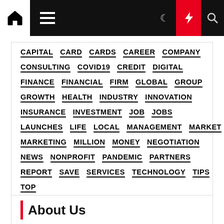[Figure (screenshot): Website navigation bar with home icon, hamburger menu, dark mode, lightning bolt (red), and search icons]
CAPITAL
CARD
CARDS
CAREER
COMPANY
CONSULTING
COVID19
CREDIT
DIGITAL
FINANCE
FINANCIAL
FIRM
GLOBAL
GROUP
GROWTH
HEALTH
INDUSTRY
INNOVATION
INSURANCE
INVESTMENT
JOB
JOBS
LAUNCHES
LIFE
LOCAL
MANAGEMENT
MARKET
MARKETING
MILLION
MONEY
NEGOTIATION
NEWS
NONPROFIT
PANDEMIC
PARTNERS
REPORT
SAVE
SERVICES
TECHNOLOGY
TIPS
TOP
About Us